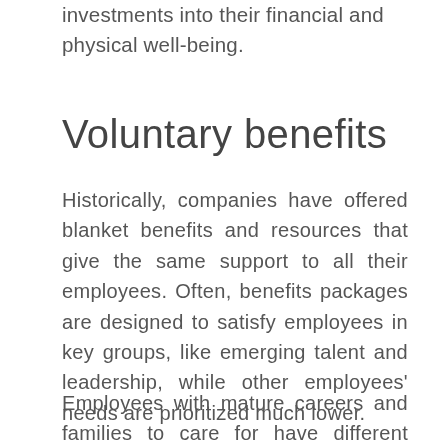investments into their financial and physical well-being.
Voluntary benefits
Historically, companies have offered blanket benefits and resources that give the same support to all their employees. Often, benefits packages are designed to satisfy employees in key groups, like emerging talent and leadership, while other employees' needs are prioritized much lower.
Employees with mature careers and families to care for have different priorities in mind than those who...